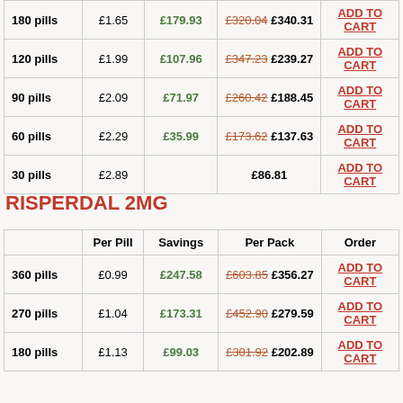|  | Per Pill | Savings | Per Pack | Order |
| --- | --- | --- | --- | --- |
| 180 pills | £1.65 | £179.93 | £320.04 £340.31 | ADD TO CART |
| 120 pills | £1.99 | £107.96 | £347.23 £239.27 | ADD TO CART |
| 90 pills | £2.09 | £71.97 | £260.42 £188.45 | ADD TO CART |
| 60 pills | £2.29 | £35.99 | £173.62 £137.63 | ADD TO CART |
| 30 pills | £2.89 |  | £86.81 | ADD TO CART |
RISPERDAL 2MG
|  | Per Pill | Savings | Per Pack | Order |
| --- | --- | --- | --- | --- |
| 360 pills | £0.99 | £247.58 | £603.85 £356.27 | ADD TO CART |
| 270 pills | £1.04 | £173.31 | £452.90 £279.59 | ADD TO CART |
| 180 pills | £1.13 | £99.03 | £301.92 £202.89 | ADD TO CART |